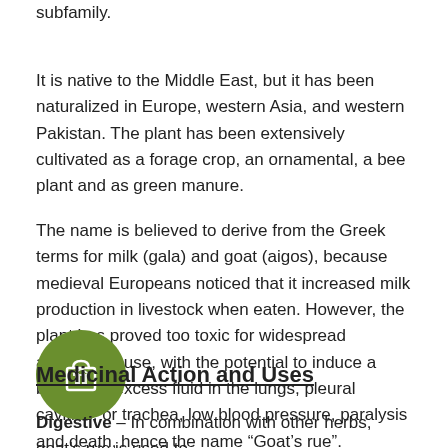subfamily.
It is native to the Middle East, but it has been naturalized in Europe, western Asia, and western Pakistan. The plant has been extensively cultivated as a forage crop, an ornamental, a bee plant and as green manure.
The name is believed to derive from the Greek terms for milk (gala) and goat (aigos), because medieval Europeans noticed that it increased milk production in livestock when eaten. However, the plant has proved too toxic for widespread agricultural use, with the potential to induce a buildup of excess fluid in the lungs, pleural cavities, or trachea, low blood pressure, paralysis and death, hence the name “Goat’s rue”.
[Figure (illustration): Green circular icon with a building/shop symbol in white]
Medicinal Action and Uses
Digestive – In combination with other herbs, goat’s rue is used to